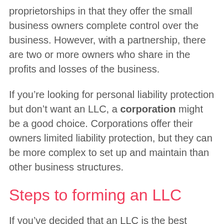proprietorships in that they offer the small business owners complete control over the business. However, with a partnership, there are two or more owners who share in the profits and losses of the business.
If you’re looking for personal liability protection but don’t want an LLC, a corporation might be a good choice. Corporations offer their owners limited liability protection, but they can be more complex to set up and maintain than other business structures.
Steps to forming an LLC
If you’ve decided that an LLC is the best